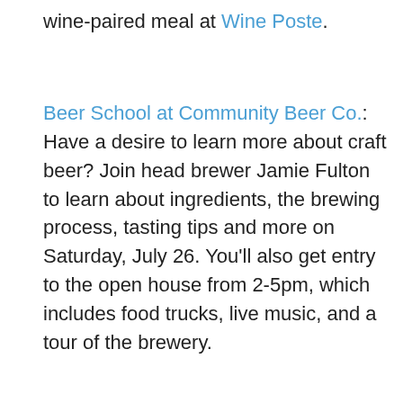wine-paired meal at Wine Poste.
Beer School at Community Beer Co.: Have a desire to learn more about craft beer? Join head brewer Jamie Fulton to learn about ingredients, the brewing process, tasting tips and more on Saturday, July 26. You'll also get entry to the open house from 2-5pm, which includes food trucks, live music, and a tour of the brewery.
News:
Bread Winners 20th Anniversary Giveaway: You could be